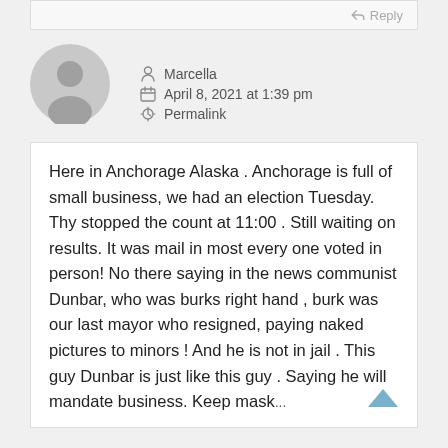Reply
[Figure (illustration): Generic gray user avatar circle with person silhouette]
Marcella
April 8, 2021 at 1:39 pm
Permalink
Here in Anchorage Alaska . Anchorage is full of small business, we had an election Tuesday. Thy stopped the count at 11:00 . Still waiting on results. It was mail in most every one voted in person! No there saying in the news communist Dunbar, who was burks right hand , burk was our last mayor who resigned, paying naked pictures to minors ! And he is not in jail . This guy Dunbar is just like this guy . Saying he will mandate business. Keep mask...